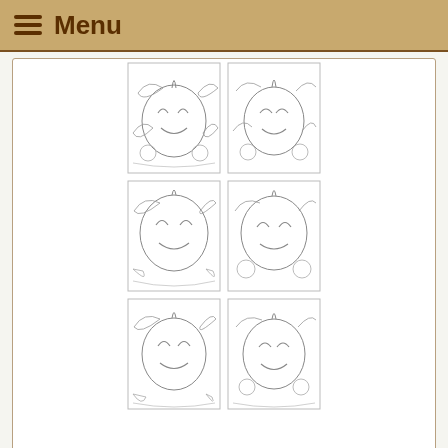≡ Menu
[Figure (illustration): Grid of 6 jack-o-lantern embroidery pattern tiles arranged in 2 columns and 3 rows, showing detailed line art of Halloween pumpkin designs with decorative foliage]
One-Color Jack-O-Lantern Set
[Figure (illustration): Tall narrow embroidery pattern showing decorative vertical border design with ornate floral and figurative motifs, partially visible]